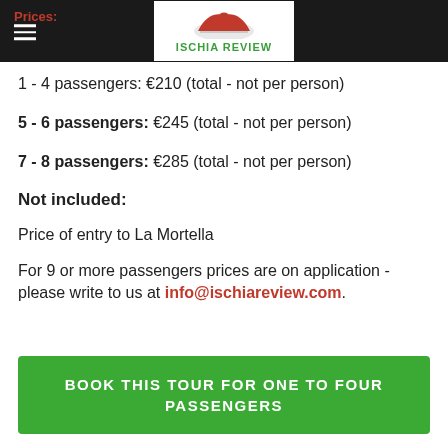Prices: [header bar with logo]
1 - 4 passengers: €210 (total - not per person)
5 - 6 passengers: €245 (total - not per person)
7 - 8 passengers: €285 (total - not per person)
Not included:
Price of entry to La Mortella
For 9 or more passengers prices are on application - please write to us at info@ischiareview.com.
BOOK THIS TOUR FOR ONE TO FOUR PASSENGERS